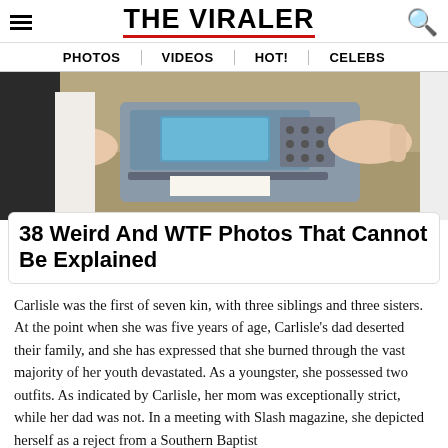THE VIRALER
PHOTOS | VIDEOS | HOT! | CELEBS
[Figure (photo): Person using a fax or office machine, hands visible on device with blue screen]
38 Weird And WTF Photos That Cannot Be Explained
Carlisle was the first of seven kin, with three siblings and three sisters. At the point when she was five years of age, Carlisle's dad deserted their family, and she has expressed that she burned through the vast majority of her youth devastated. As a youngster, she possessed two outfits. As indicated by Carlisle, her mom was exceptionally strict, while her dad was not. In a meeting with Slash magazine, she depicted herself as a reject from a Southern Baptist